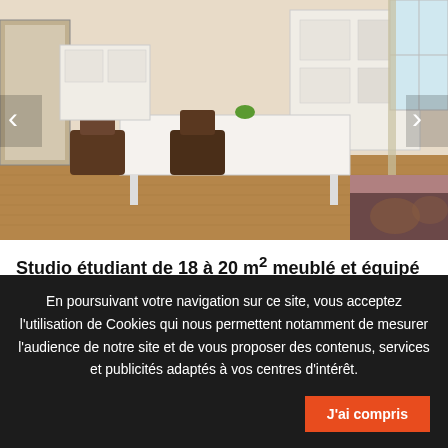[Figure (photo): Interior photo of a furnished studio apartment with desk, chairs, storage shelves, window, and a bed with patterned blanket. Navigation arrows on left and right.]
Studio étudiant de 18 à 20 m² meublé et équipé à 3...
Information spéciale COVID-19 Nous vous informons que tous nos logements étudiants sont désinfectés avant chaque location selon l...
[Figure (infographic): Amenity icons: shower, stove/oven, keypad/intercom, group/people icons, + 16]
From
En poursuivant votre navigation sur ce site, vous acceptez l'utilisation de Cookies qui nous permettent notamment de mesurer l'audience de notre site et de vous proposer des contenus, services et publicités adaptés à vos centres d'intérêt.
J'ai compris